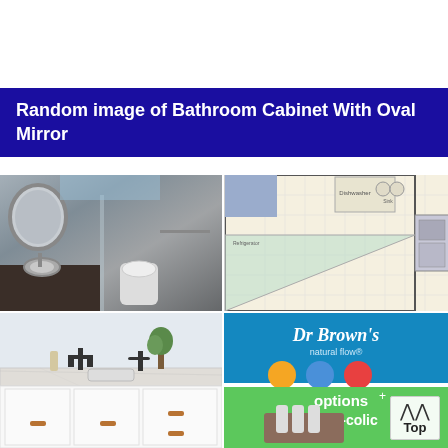Random image of Bathroom Cabinet With Oval Mirror
[Figure (photo): Dark marble bathroom with oval mirror, vessel sink on dark wood vanity, and toilet]
[Figure (schematic): Kitchen/bathroom floor plan layout diagram with grid, triangle work zone, and labeled appliances]
[Figure (photo): White bathroom vanity with marble countertop, dark faucets, and drawer pulls]
[Figure (photo): Dr Brown's natural flow options+ Anti-colic baby bottle product packaging]